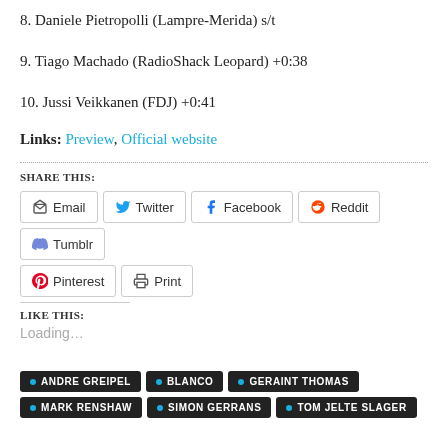8. Daniele Pietropolli (Lampre-Merida) s/t
9. Tiago Machado (RadioShack Leopard) +0:38
10. Jussi Veikkanen (FDJ) +0:41
Links: Preview, Official website
SHARE THIS:
Email Twitter Facebook Reddit Tumblr Pinterest Print
LIKE THIS:
Loading...
ANDRE GREIPEL, BLANCO, GERAINT THOMAS
MARK RENSHAW, SIMON GERRANS, TOM JELTE SLAGER